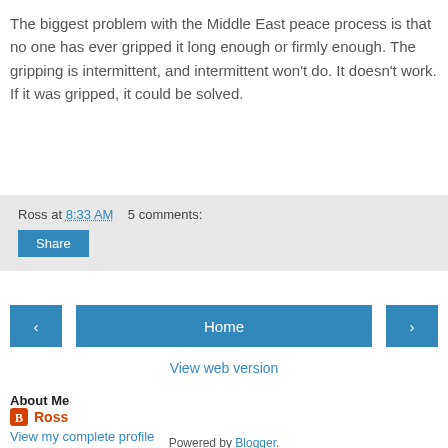The biggest problem with the Middle East peace process is that no one has ever gripped it long enough or firmly enough. The gripping is intermittent, and intermittent won’t do. It doesn’t work. If it was gripped, it could be solved.
Ross at 8:33 AM   5 comments:
Share
‹
Home
›
View web version
About Me
Ross
View my complete profile
Powered by Blogger.